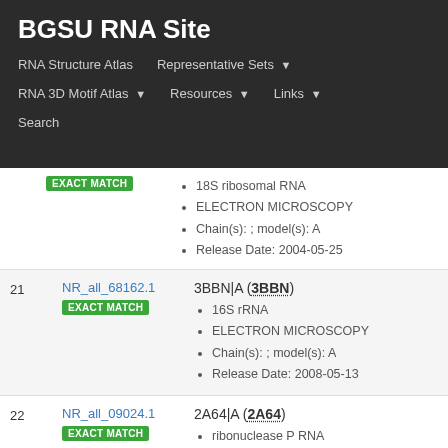BGSU RNA Site
RNA Structure Atlas
Representative Sets
RNA 3D Motif Atlas
Resources
Links
Search
| # | ID | Details |
| --- | --- | --- |
|  | EXACT MATCH | 18S ribosomal RNA · ELECTRON MICROSCOPY · Chain(s): ; model(s): A · Release Date: 2004-05-25 |
| 21 | NR_all_68162.1
EXACT MATCH | 3BBN|A (3BBN)
16S rRNA · ELECTRON MICROSCOPY · Chain(s): ; model(s): A · Release Date: 2008-05-13 |
| 22 | NR_all_09024.1
EXACT MATCH | 2A64|A (2A64)
ribonuclease P RNA · X-RAY DIFFRACTION · Chain(s): ; model(s): A |